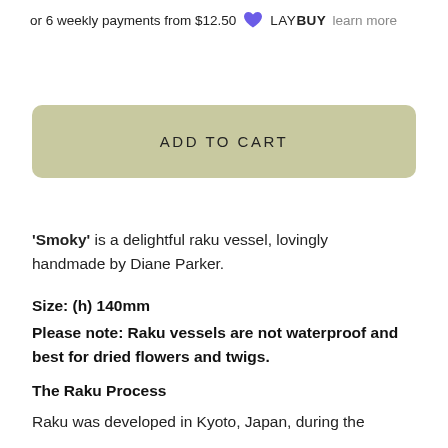or 6 weekly payments from $12.50 [Laybuy heart icon] LAY BUY learn more
[Figure (other): ADD TO CART button with sage/olive green rounded rectangle background]
'Smoky' is a delightful raku vessel, lovingly handmade by Diane Parker.
Size: (h) 140mm
Please note: Raku vessels are not waterproof and best for dried flowers and twigs.
The Raku Process
Raku was developed in Kyoto, Japan, during the